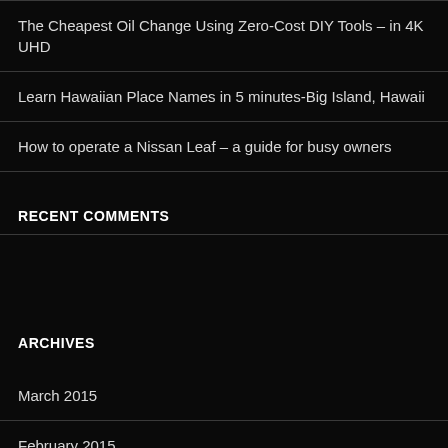The Cheapest Oil Change Using Zero-Cost DIY Tools – in 4K UHD
Learn Hawaiian Place Names in 5 minutes-Big Island, Hawaii
How to operate a Nissan Leaf – a guide for busy owners
RECENT COMMENTS
ARCHIVES
March 2015
February 2015
January 2015